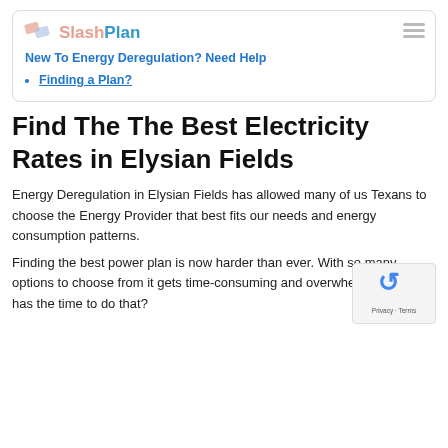SlashPlan — New To Energy Deregulation? Need Help — Finding a Plan?
Find The The Best Electricity Rates in Elysian Fields
Energy Deregulation in Elysian Fields has allowed many of us Texans to choose the Energy Provider that best fits our needs and energy consumption patterns.
Finding the best power plan is now harder than ever. With so many options to choose from it gets time-consuming and overwhelming. Who has the time to do that?